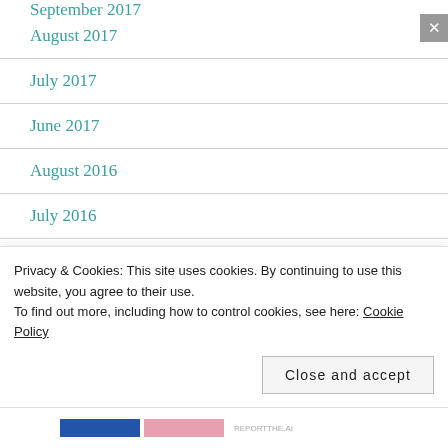September 2017
August 2017
July 2017
June 2017
August 2016
July 2016
June 2016
January 2016
Privacy & Cookies: This site uses cookies. By continuing to use this website, you agree to their use. To find out more, including how to control cookies, see here: Cookie Policy
Close and accept